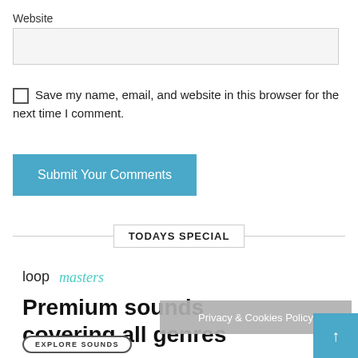Website
[input box]
Save my name, email, and website in this browser for the next time I comment.
Submit Your Comments
TODAYS SPECIAL
[Figure (logo): Loopmasters logo in teal/cyan script]
Premium sounds covering all genres
Privacy & Cookies Policy
↑